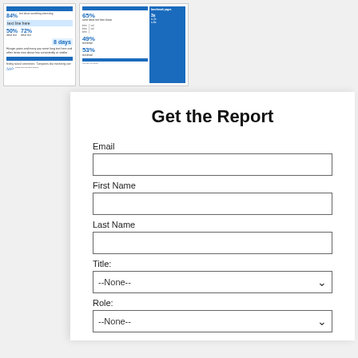[Figure (screenshot): Two small thumbnail images of a report infographic showing statistics like 84%, 50%, 72%, 8 days, 65%, 49%, 53%]
Get the Report
Email
First Name
Last Name
Title:
--None--
Role:
--None--